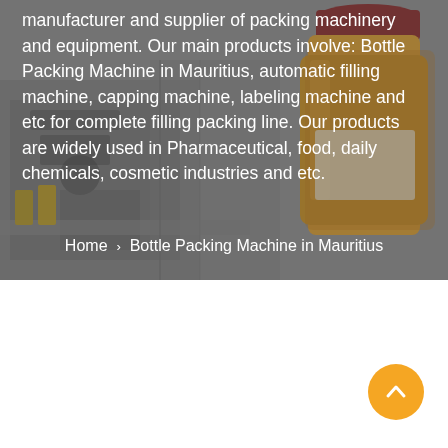[Figure (photo): Background photo of packing machinery and equipment with a yellow/orange glass jar visible on the right side, overlaid with white text. Gray-toned industrial scene.]
manufacturer and supplier of packing machinery and equipment. Our main products involve: Bottle Packing Machine in Mauritius, automatic filling machine, capping machine, labeling machine and etc for complete filling packing line. Our products are widely used in Pharmaceutical, food, daily chemicals, cosmetic industries and etc.
Home > Bottle Packing Machine in Mauritius